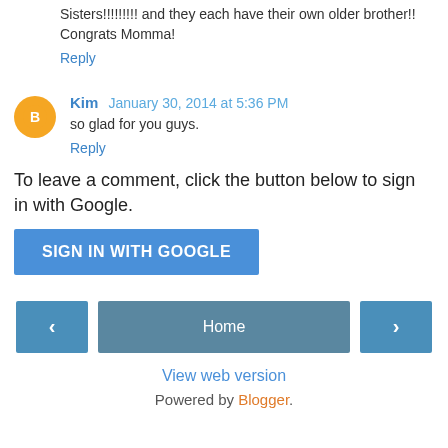Sisters!!!!!!!!! and they each have their own older brother!! Congrats Momma!
Reply
Kim  January 30, 2014 at 5:36 PM
so glad for you guys.
Reply
To leave a comment, click the button below to sign in with Google.
SIGN IN WITH GOOGLE
< Home >
View web version
Powered by Blogger.